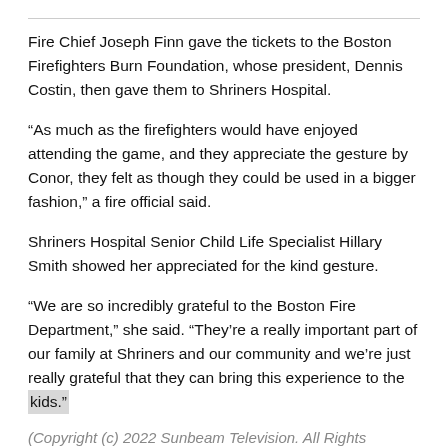Fire Chief Joseph Finn gave the tickets to the Boston Firefighters Burn Foundation, whose president, Dennis Costin, then gave them to Shriners Hospital.
“As much as the firefighters would have enjoyed attending the game, and they appreciate the gesture by Conor, they felt as though they could be used in a bigger fashion,” a fire official said.
Shriners Hospital Senior Child Life Specialist Hillary Smith showed her appreciated for the kind gesture.
“We are so incredibly grateful to the Boston Fire Department,” she said. “They’re a really important part of our family at Shriners and our community and we’re just really grateful that they can bring this experience to the kids.”
(Copyright (c) 2022 Sunbeam Television. All Rights...